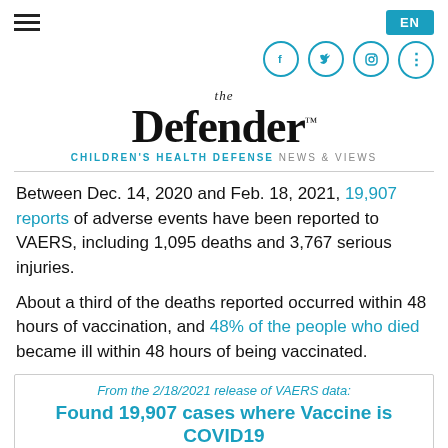EN
[Figure (logo): The Defender - Children's Health Defense News & Views logo]
Between Dec. 14, 2020 and Feb. 18, 2021, 19,907 reports of adverse events have been reported to VAERS, including 1,095 deaths and 3,767 serious injuries.
About a third of the deaths reported occurred within 48 hours of vaccination, and 48% of the people who died became ill within 48 hours of being vaccinated.
From the 2/18/2021 release of VAERS data: Found 19,907 cases where Vaccine is COVID19